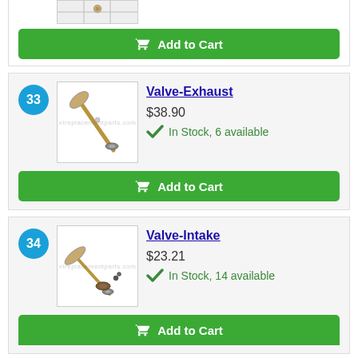[Figure (photo): Partial view of a small mechanical part/bolt on a grid background]
Add to Cart (top partial button)
33
[Figure (photo): Exhaust valve and valve components (stem, disc, keeper)]
Valve-Exhaust
$38.90
In Stock, 6 available
Add to Cart
34
[Figure (photo): Intake valve and valve components (stem, disc, keepers, spring seat)]
Valve-Intake
$23.21
In Stock, 14 available
Add to Cart